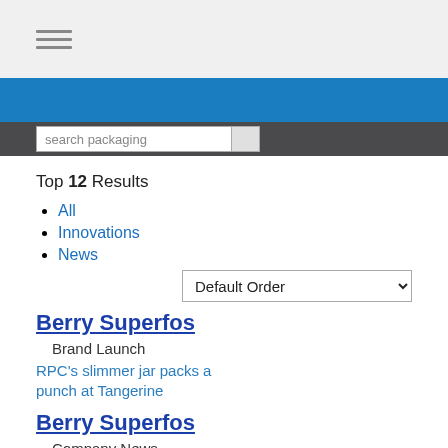hamburger menu icon
search packaging
Top 12 Results
All
Innovations
News
Default Order
Berry Superfos
Brand Launch
RPC's slimmer jar packs a punch at Tangerine
Berry Superfos
Company News